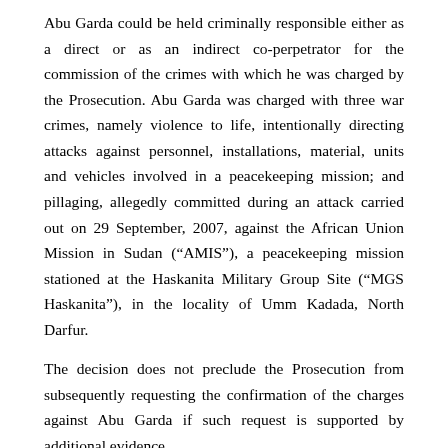Abu Garda could be held criminally responsible either as a direct or as an indirect co-perpetrator for the commission of the crimes with which he was charged by the Prosecution. Abu Garda was charged with three war crimes, namely violence to life, intentionally directing attacks against personnel, installations, material, units and vehicles involved in a peacekeeping mission; and pillaging, allegedly committed during an attack carried out on 29 September, 2007, against the African Union Mission in Sudan (“AMIS”), a peacekeeping mission stationed at the Haskanita Military Group Site (“MGS Haskanita”), in the locality of Umm Kadada, North Darfur.
The decision does not preclude the Prosecution from subsequently requesting the confirmation of the charges against Abu Garda if such request is supported by additional evidence.
Background information